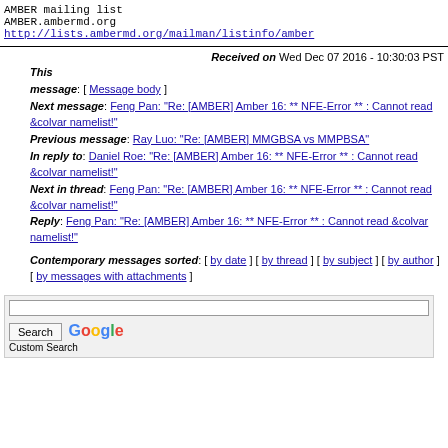AMBER mailing list
AMBER.ambermd.org
http://lists.ambermd.org/mailman/listinfo/amber
Received on Wed Dec 07 2016 - 10:30:03 PST
This message: [ Message body ]
Next message: Feng Pan: "Re: [AMBER] Amber 16: ** NFE-Error ** : Cannot read &colvar namelist!"
Previous message: Ray Luo: "Re: [AMBER] MMGBSA vs MMPBSA"
In reply to: Daniel Roe: "Re: [AMBER] Amber 16: ** NFE-Error ** : Cannot read &colvar namelist!"
Next in thread: Feng Pan: "Re: [AMBER] Amber 16: ** NFE-Error ** : Cannot read &colvar namelist!"
Reply: Feng Pan: "Re: [AMBER] Amber 16: ** NFE-Error ** : Cannot read &colvar namelist!"
Contemporary messages sorted: [ by date ] [ by thread ] [ by subject ] [ by author ] [ by messages with attachments ]
[Figure (other): Search box with Google Custom Search branding and a Search button]